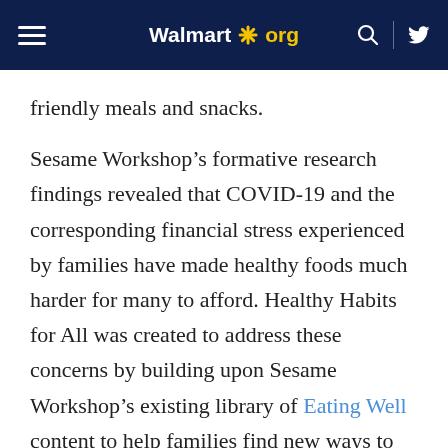Walmart *.org
friendly meals and snacks.
Sesame Workshop’s formative research findings revealed that COVID-19 and the corresponding financial stress experienced by families have made healthy foods much harder for many to afford. Healthy Habits for All was created to address these concerns by building upon Sesame Workshop’s existing library of Eating Well content to help families find new ways to access affordable food, build a balanced diet, and make groceries last. Available in English and Spanish at sesamestreetincommunities.org/topics/eating.